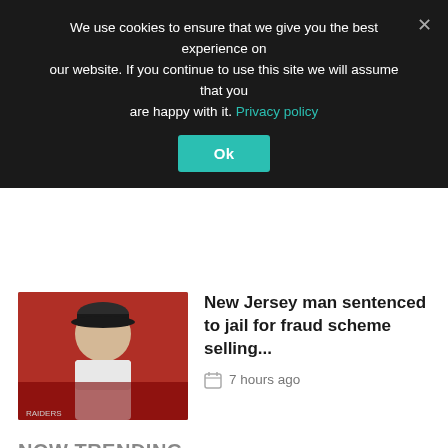We use cookies to ensure that we give you the best experience on our website. If you continue to use this site we will assume that you are happy with it. Privacy policy
Ok
New Jersey man sentenced to jail for fraud scheme selling...
7 hours ago
NOW TRENDING
YouTube appoints Mary Ellen Coe as Chief Business Officer, following departure of Robert Kyncl
August 30, 2022
Robert Kyncl, global head of...